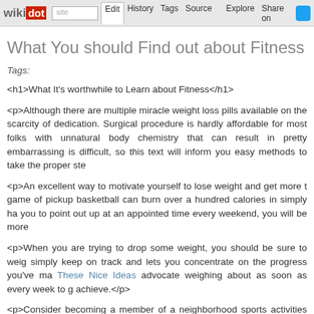wikidot | site | Edit | History | Tags | Source | Explore | Share on Twitter
What You should Find out about Fitness - 18 May
Tags:
<h1>What It's worthwhile to Learn about Fitness</h1>
<p>Although there are multiple miracle weight loss pills available on the scarcity of dedication. Surgical procedure is hardly affordable for most folks with unnatural body chemistry that can result in pretty embarrassing is difficult, so this text will inform you easy methods to take the proper ste
<p>An excellent way to motivate yourself to lose weight and get more t game of pickup basketball can burn over a hundred calories in simply ha you to point out up at an appointed time every weekend, you will be more
<p>When you are trying to drop some weight, you should be sure to weig simply keep on track and lets you concentrate on the progress you've ma These Nice Ideas advocate weighing about as soon as every week to g achieve.</p>
<p>Consider becoming a member of a neighborhood sports activities me with shedding weight. Zumba classes are extremely popular proper now convincing a friend or family member to affix you. This makes figurin seemingly to show exercising right into a habit!</p>
<p>A well-known key to weight loss is to do more train. Aerobic exercis modifications to the weight loss plan are effective, embarking on an exer reduction effort dramatically. People who exercise often are much less lik